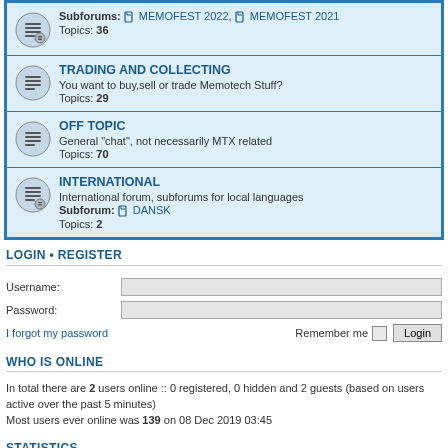Subforums: MEMOFEST 2022, MEMOFEST 2021
Topics: 36
TRADING AND COLLECTING
You want to buy,sell or trade Memotech Stuff?
Topics: 29
OFF TOPIC
General "chat", not necessarily MTX related
Topics: 70
INTERNATIONAL
International forum, subforums for local languages
Subforum: DANSK
Topics: 2
LOGIN • REGISTER
Username:
Password:
I forgot my password
Remember me  Login
WHO IS ONLINE
In total there are 2 users online :: 0 registered, 0 hidden and 2 guests (based on users active over the past 5 minutes)
Most users ever online was 139 on 08 Dec 2019 03:45
STATISTICS
Total posts 4656 • Total topics 528 • Total members 145 • Our newest member